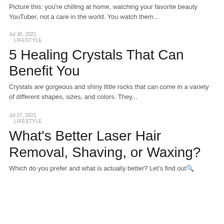Picture this: you're chilling at home, watching your favorite beauty YouTuber, not a care in the world. You watch them...
Jul 30, 2021
    LIFESTYLE
5 Healing Crystals That Can Benefit You
Crystals are gorgeous and shiny little rocks that can come in a variety of different shapes, sizes, and colors. They...
Jul 27, 2021
    LIFESTYLE
What's Better Laser Hair Removal, Shaving, or Waxing?
Which do you prefer and what is actually better? Let's find out🔍